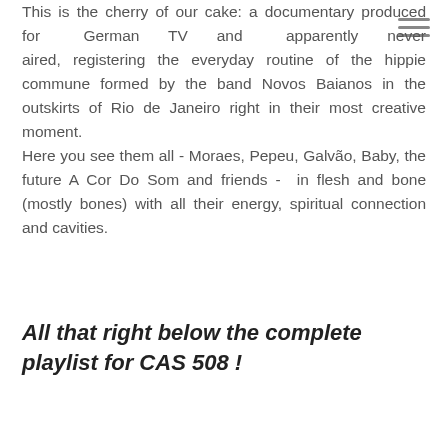This is the cherry of our cake: a documentary produced for German TV and apparently never aired, registering the everyday routine of the hippie commune formed by the band Novos Baianos in the outskirts of Rio de Janeiro right in their most creative moment.
Here you see them all - Moraes, Pepeu, Galvão, Baby, the future A Cor Do Som and friends - in flesh and bone (mostly bones) with all their energy, spiritual connection and cavities.
All that right below the complete playlist for CAS 508 !